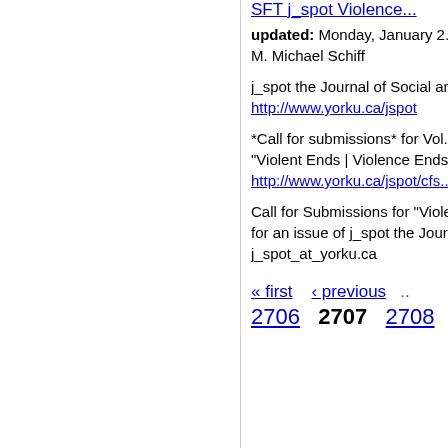SFT j_spot Violence... (link, truncated)
updated: Monday, January 2...
M. Michael Schiff
j_spot the Journal of Social an...
http://www.yorku.ca/jspot
*Call for submissions* for Vol....
"Violent Ends | Violence Ends...
http://www.yorku.ca/jspot/cfs...
Call for Submissions for "Viole...
for an issue of j_spot the Joun...
j_spot_at_yorku.ca
« first  ‹ previous  ...
2706  2707  2708